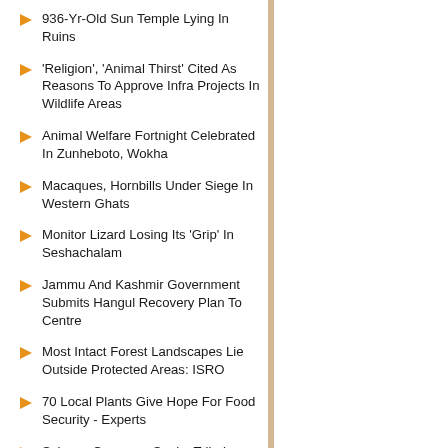936-Yr-Old Sun Temple Lying In Ruins
‘Religion’, ‘Animal Thirst’ Cited As Reasons To Approve Infra Projects In Wildlife Areas
Animal Welfare Fortnight Celebrated In Zunheboto, Wokha
Macaques, Hornbills Under Siege In Western Ghats
Monitor Lizard Losing Its ‘Grip’ In Seshachalam
Jammu And Kashmir Government Submits Hangul Recovery Plan To Centre
Most Intact Forest Landscapes Lie Outside Protected Areas: ISRO
70 Local Plants Give Hope For Food Security - Experts
Science Congress Snubs Tribal Medicines
Landscape Connectivity Key To Elephant Protection - Study